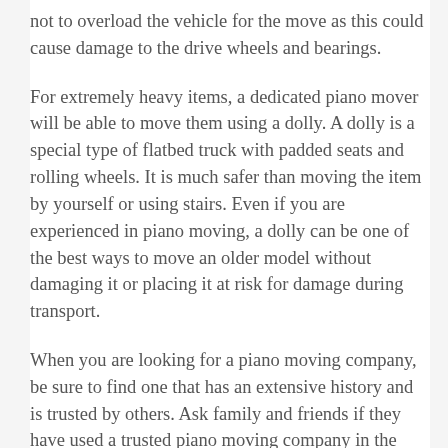not to overload the vehicle for the move as this could cause damage to the drive wheels and bearings.
For extremely heavy items, a dedicated piano mover will be able to move them using a dolly. A dolly is a special type of flatbed truck with padded seats and rolling wheels. It is much safer than moving the item by yourself or using stairs. Even if you are experienced in piano moving, a dolly can be one of the best ways to move an older model without damaging it or placing it at risk for damage during transport.
When you are looking for a piano moving company, be sure to find one that has an extensive history and is trusted by others. Ask family and friends if they have used a trusted piano moving company in the past. A trusted moving company will offer you a free quote for their services. The quote should provide you with a detailed breakdown of the price including the cost of the transportation, insurance, and